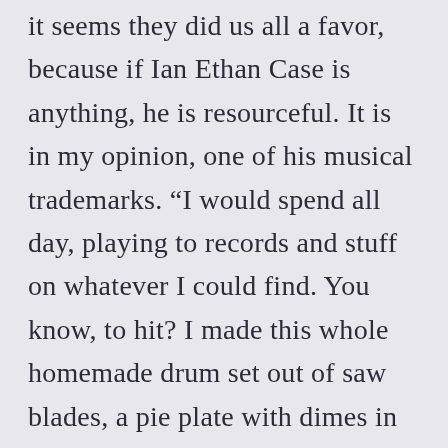it seems they did us all a favor, because if Ian Ethan Case is anything, he is resourceful. It is in my opinion, one of his musical trademarks. “I would spend all day, playing to records and stuff on whatever I could find. You know, to hit? I made this whole homemade drum set out of saw blades, a pie plate with dimes in it, and a big GatorAide bottle.